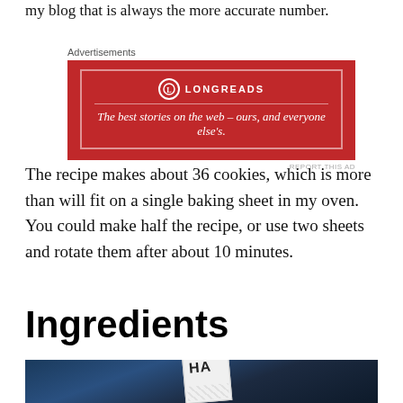my blog that is always the more accurate number.
[Figure (other): Longreads advertisement banner: red background with white border, Longreads logo and tagline 'The best stories on the web – ours, and everyone else's.']
The recipe makes about 36 cookies, which is more than will fit on a single baking sheet in my oven. You could make half the recipe, or use two sheets and rotate them after about 10 minutes.
Ingredients
[Figure (photo): Dark-toned photo of baking ingredients on a countertop, including what appears to be a bag of flour or sugar with 'HA' visible on the label.]